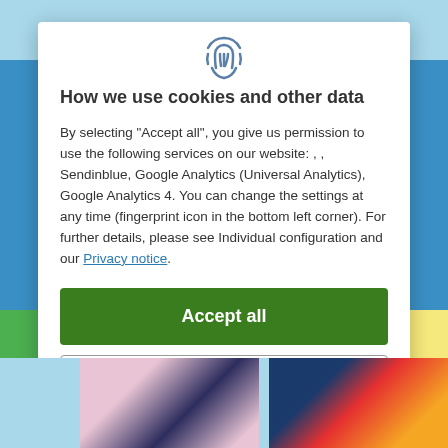How we use cookies and other data
By selecting "Accept all", you give us permission to use the following services on our website: , , Sendinblue, Google Analytics (Universal Analytics), Google Analytics 4. You can change the settings at any time (fingerprint icon in the bottom left corner). For further details, please see Individual configuration and our Privacy notice.
Accept all
Close
Configuration